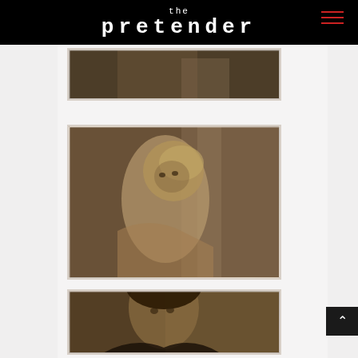the pretender
[Figure (screenshot): TV show screenshot – close-up scene, dark background, partial figure visible]
[Figure (screenshot): TV show screenshot – blonde woman looking over shoulder in shower/bathroom scene]
[Figure (screenshot): TV show screenshot – dark-haired man looking at camera with intense expression]